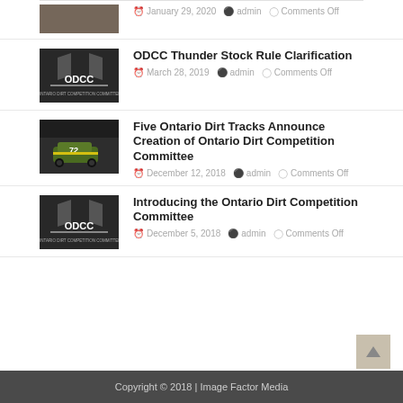[Figure (photo): Partial view of a racing photo thumbnail at top of page]
January 29, 2020   admin   Comments Off
[Figure (photo): ODCC logo with checkered flags on dark background]
ODCC Thunder Stock Rule Clarification
March 28, 2019   admin   Comments Off
[Figure (photo): Dirt track racing car number 72 on dirt track]
Five Ontario Dirt Tracks Announce Creation of Ontario Dirt Competition Committee
December 12, 2018   admin   Comments Off
[Figure (photo): ODCC logo with checkered flags on dark background]
Introducing the Ontario Dirt Competition Committee
December 5, 2018   admin   Comments Off
Copyright © 2018 | Image Factor Media